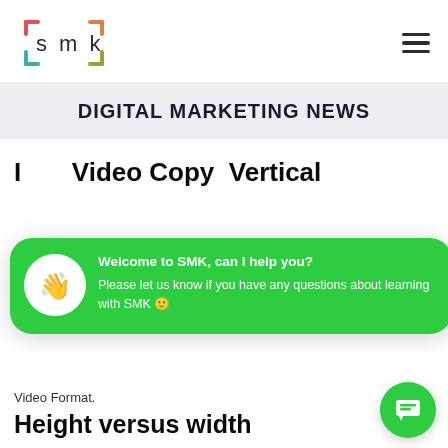[Figure (logo): SMK logo with colored bracket corners and lowercase 'smk' text]
DIGITAL MARKETING NEWS
Height versus width
Video Format.
[Figure (screenshot): Green chat popup overlay: Welcome to SMK, can I help you? Please let us know if you have any questions about learning with SMK]
[Figure (other): Green chat button icon at bottom right]